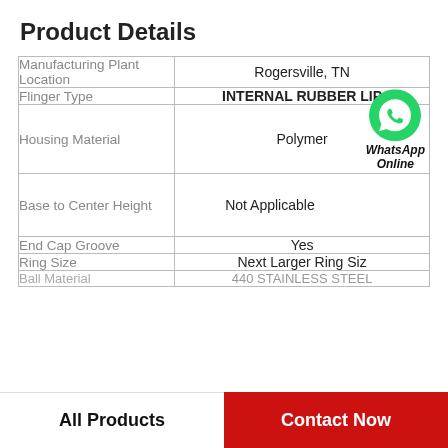Product Details
| Property | Value |
| --- | --- |
| Manufacturing Plant Location | Rogersville, TN |
| Flinger Type | INTERNAL RUBBER LIP |
| Housing Material | Polymer |
| Base to Center Height | Not Applicable |
| End Cap Groove | Yes |
| Ring Size | Next Larger Ring Siz |
| Ball Material | 440 STAINLESS STEEL |
All Products | Contact Now